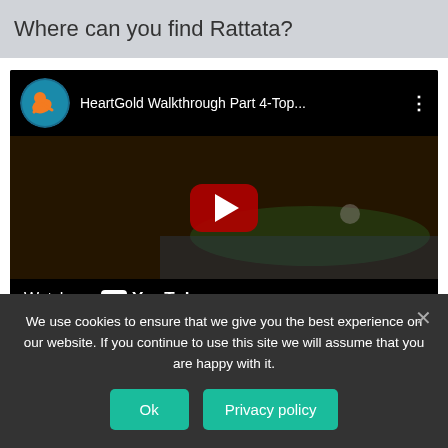Where can you find Rattata?
[Figure (screenshot): YouTube video thumbnail showing HeartGold Walkthrough Part 4-Top... with channel icon and Watch on YouTube overlay]
[Figure (other): Row of social media share buttons (Facebook, Twitter, Google+, YouTube, LinkedIn, Pinterest, Email)]
We use cookies to ensure that we give you the best experience on our website. If you continue to use this site we will assume that you are happy with it.
Ok  Privacy policy